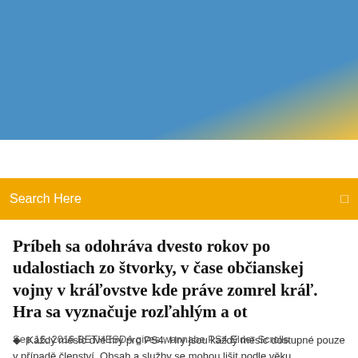[Figure (photo): Blue and yellow gradient header banner]
Search Here
Príbeh sa odohráva dvesto rokov po udalostiach zo štvorky, v čase občianskej vojny v kráľovstve kde práve zomrel kráľ. Hra sa vyznačuje rozľahlým a ot
Každý měsíc dvě hry pro PS4. Hry jsou každý měsíc dostupné pouze v případě členství. Obsah a služby se mohou lišit podle věku předplatitele.   |
3 Comments
Sep 16, 2016 BETHESDA gives wannabe PS4 Elder Scrolls